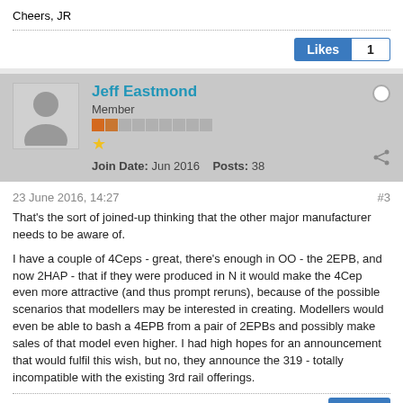Cheers, JR
Likes 1
Jeff Eastmond
Member
Join Date: Jun 2016  Posts: 38
23 June 2016, 14:27
#3
That's the sort of joined-up thinking that the other major manufacturer needs to be aware of.
I have a couple of 4Ceps - great, there's enough in OO - the 2EPB, and now 2HAP - that if they were produced in N it would make the 4Cep even more attractive (and thus prompt reruns), because of the possible scenarios that modellers may be interested in creating. Modellers would even be able to bash a 4EPB from a pair of 2EPBs and possibly make sales of that model even higher. I had high hopes for an announcement that would fulfil this wish, but no, they announce the 319 - totally incompatible with the existing 3rd rail offerings.